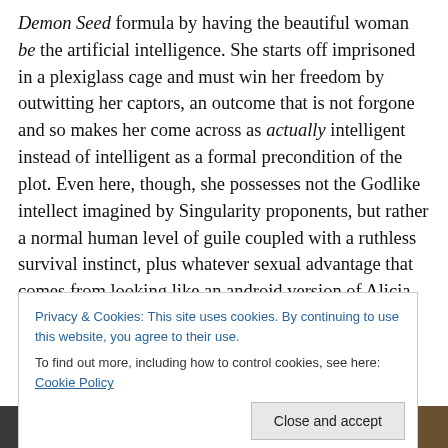Demon Seed formula by having the beautiful woman be the artificial intelligence. She starts off imprisoned in a plexiglass cage and must win her freedom by outwitting her captors, an outcome that is not forgone and so makes her come across as actually intelligent instead of intelligent as a formal precondition of the plot. Even here, though, she possesses not the Godlike intellect imagined by Singularity proponents, but rather a normal human level of guile coupled with a ruthless survival instinct, plus whatever sexual advantage that comes from looking like an android version of Alicia Vikander.
Privacy & Cookies: This site uses cookies. By continuing to use this website, you agree to their use. To find out more, including how to control cookies, see here: Cookie Policy
[Figure (screenshot): Bottom strip showing a dark video thumbnail with a red YouTube play button in the center]